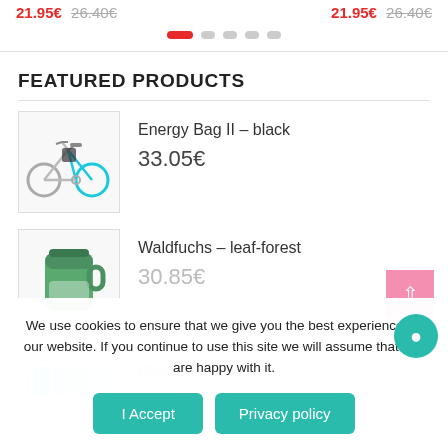21.95€ 26.40€   21.95€ 26.40€
[Figure (other): Carousel pagination dots: one active red dot and four grey dots]
FEATURED PRODUCTS
[Figure (photo): Product image: road bicycle with handlebar bag, Energy Bag II black]
Energy Bag II – black
33.05€
[Figure (photo): Product image: green insulated mug/thermos, Waldfuchs leaf-forest]
Waldfuchs – leaf-forest
30.85€
[Figure (photo): Product image: third featured product partially visible at bottom]
85.61€ 95.12€
We use cookies to ensure that we give you the best experience on our website. If you continue to use this site we will assume that you are happy with it.
I Accept
Privacy policy